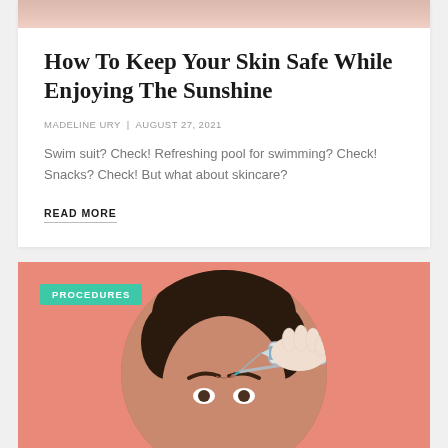[Figure (photo): Top portion of a skin/beauty article card with a partial peach-toned background image at the top]
How To Keep Your Skin Safe While Enjoying The Sunshine
MADELINE URY | AUGUST 27, 2021
Swim suit? Check! Refreshing pool for swimming? Check! Snacks? Check! But what about skincare?
READ MORE
[Figure (photo): Article card with a salmon/coral background and a circular cropped photo of a person receiving a facial injection (syringe to forehead), with a green 'PROCEDURES' badge in the top left corner]